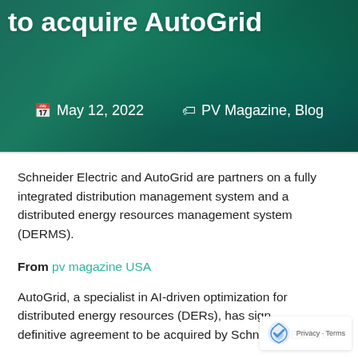to acquire AutoGrid
May 12, 2022  PV Magazine, Blog
Schneider Electric and AutoGrid are partners on a fully integrated distribution management system and a distributed energy resources management system (DERMS).
From pv magazine USA
AutoGrid, a specialist in AI-driven optimization for distributed energy resources (DERs), has signed a definitive agreement to be acquired by Schneider Electric.